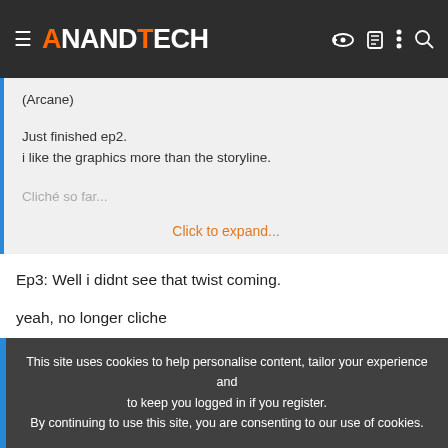AnandTech
(Arcane)

Just finished ep2.
i like the graphics more than the storyline.

Cliché so far...

Click to expand...
Ep3: Well i didnt see that twist coming.

yeah, no longer cliche
[DHT]Osiris
This site uses cookies to help personalise content, tailor your experience and to keep you logged in if you register.
By continuing to use this site, you are consenting to our use of cookies.